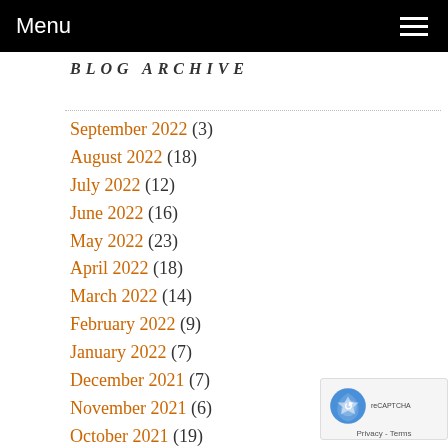Menu
BLOG ARCHIVE
September 2022 (3)
August 2022 (18)
July 2022 (12)
June 2022 (16)
May 2022 (23)
April 2022 (18)
March 2022 (14)
February 2022 (9)
January 2022 (7)
December 2021 (7)
November 2021 (6)
October 2021 (19)
September 2021 (3)
August 2021 (2)
July 2021 (14)
June 2021 (5)
May 2021 (3)